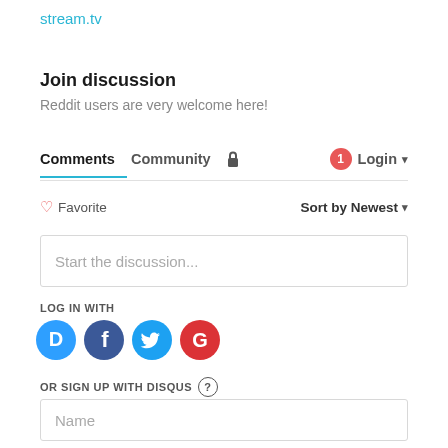stream.tv
Join discussion
Reddit users are very welcome here!
Comments   Community   🔒   1   Login ▾
♡ Favorite   Sort by Newest ▾
Start the discussion...
LOG IN WITH
[Figure (logo): Social login icons: Disqus (blue D), Facebook (dark blue f), Twitter (blue bird), Google (red G)]
OR SIGN UP WITH DISQUS ?
Name